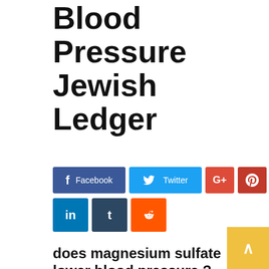...sulfate Lower Blood Pressure Jewish Ledger
[Figure (infographic): Social sharing buttons: Facebook (blue), Twitter (light blue), Google+ (red-orange), Pinterest (dark red), LinkedIn (blue), Tumblr (dark blue-grey), Reddit (orange)]
does magnesium sulfate lower blood pressure ?
What drugs treat high blood pressure
Herbals to lower blood pressure
Blood pressure drugs UK